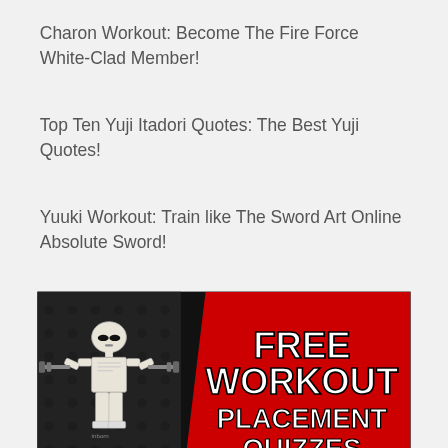Charon Workout: Become The Fire Force White-Clad Member!
Top Ten Yuji Itadori Quotes: The Best Yuji Quotes!
Yuuki Workout: Train like The Sword Art Online Absolute Sword!
[Figure (infographic): Advertisement banner showing a Lego stormtrooper figure holding barbells on a dark LEGO brick background on the left, and red background with bold white Impact text reading FREE WORKOUT PLACEMENT QUIZZES on the right]
[Figure (infographic): Partially visible banner at the bottom showing a person on the left and a purple/blue background with white bold text reading THE SHU on the right, with a share button icon on the far left]